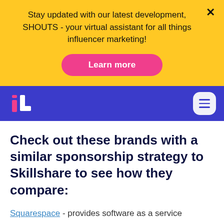Stay updated with our latest development, SHOUTS - your virtual assistant for all things influencer marketing!
Learn more
[Figure (logo): IL influencer marketing logo in pink and white on blue nav bar]
Check out these brands with a similar sponsorship strategy to Skillshare to see how they compare:
Squarespace - provides software as a service